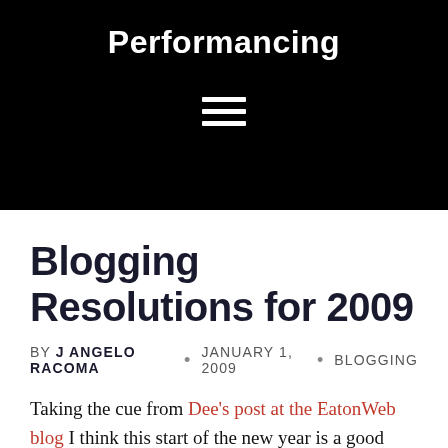Performancing
Blogging Resolutions for 2009
BY J ANGELO RACOMA · JANUARY 1, 2009 · BLOGGING
Taking the cue from Dee's post at the EatonWeb blog I think this start of the new year is a good time to come up with goals and resolutions for 2009. I know new year's